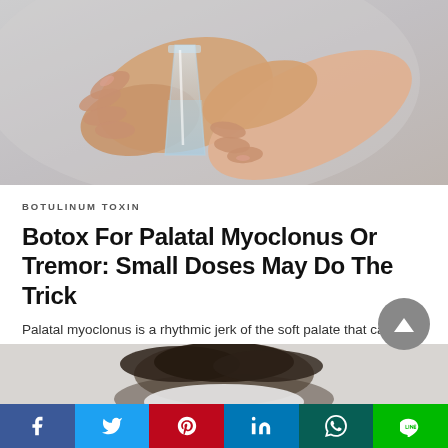[Figure (photo): Hands holding a clear glass of water against a light gray background]
BOTULINUM TOXIN
Botox For Palatal Myoclonus Or Tremor: Small Doses May Do The Trick
Palatal myoclonus is a rhythmic jerk of the soft palate that can cause an annoying…
4 weeks ago
[Figure (photo): Partial view of a person's head bowed down, bottom of page]
Social share bar: Facebook, Twitter, Pinterest, LinkedIn, WhatsApp, LINE